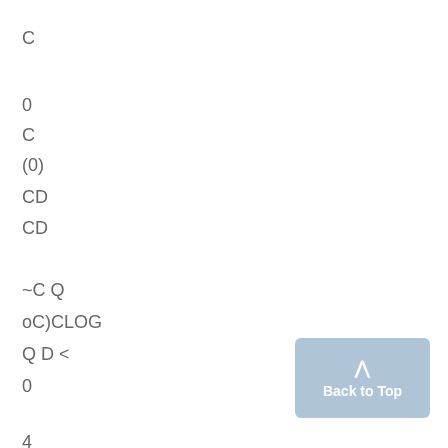C
0
C
(0)
CD
CD
~C Q
oC)CLOG
Q D &lt;
0
4